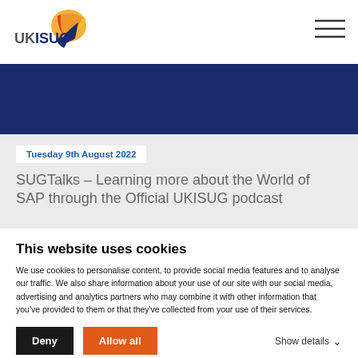UKISUG
[Figure (illustration): UKISUG logo with stylized bird/flame graphic in orange, yellow and blue, beside bold text UKISUG]
[Figure (other): Hamburger menu icon (three horizontal lines)]
[Figure (other): Dark navy blue banner image strip]
Tuesday 9th August 2022
SUGTalks – Learning more about the World of SAP through the Official UKISUG podcast
This website uses cookies
We use cookies to personalise content, to provide social media features and to analyse our traffic. We also share information about your use of our site with our social media, advertising and analytics partners who may combine it with other information that you've provided to them or that they've collected from your use of their services.
Deny
Allow all
Show details